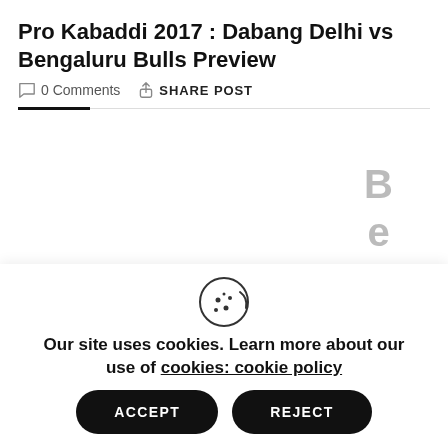Pro Kabaddi 2017 : Dabang Delhi vs Bengaluru Bulls Preview
0 Comments   SHARE POST
[Figure (other): Vertically arranged letters spelling 'Benga' running down the right side of the page]
[Figure (other): Cookie consent overlay with cookie icon, accept and reject buttons, and scroll/edit floating buttons]
Our site uses cookies. Learn more about our use of cookies: cookie policy